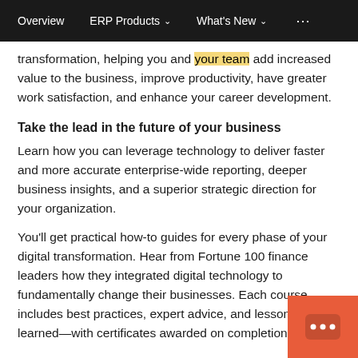Overview   ERP Products ∨   What's New ∨   • • •
transformation, helping you and your team add increased value to the business, improve productivity, have greater work satisfaction, and enhance your career development.
Take the lead in the future of your business
Learn how you can leverage technology to deliver faster and more accurate enterprise-wide reporting, deeper business insights, and a superior strategic direction for your organization.
You'll get practical how-to guides for every phase of your digital transformation. Hear from Fortune 100 finance leaders how they integrated digital technology to fundamentally change their businesses. Each course includes best practices, expert advice, and lessons learned—with certificates awarded on completion.
[Figure (other): Orange chat widget button with ellipsis dots icon in bottom right corner]